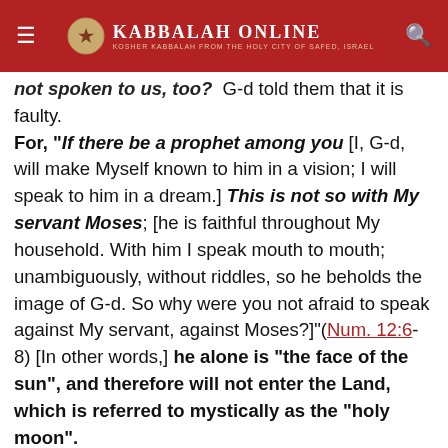KABBALAH ONLINE — Kosher Kabbalah from the Holy City of Safed, Israel
not spoken to us, too?  G-d told them that it is faulty. For, "If there be a prophet among you [I, G-d, will make Myself known to him in a vision; I will speak to him in a dream.] This is not so with My servant Moses; [he is faithful throughout My household. With him I speak mouth to mouth; unambiguously, without riddles, so he beholds the image of G-d. So why were you not afraid to speak against My servant, against Moses?]"(Num. 12:6-8) [In other words,] he alone is "the face of the sun", and therefore will not enter the Land, which is referred to mystically as the "holy moon".
Although Aaron and Miriam were correct that their